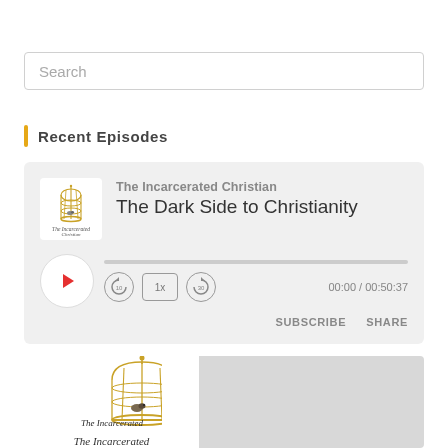Search
Recent Episodes
The Incarcerated Christian — The Dark Side to Christianity
00:00 / 00:50:37
SUBSCRIBE   SHARE
[Figure (screenshot): Podcast album art showing a golden birdcage with a bird, and text 'The Incarcerated Christian' in italic script]